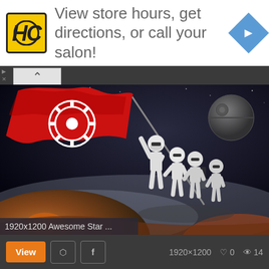[Figure (screenshot): Advertisement banner with HC salon logo, text 'View store hours, get directions, or call your salon!' and blue navigation diamond icon]
[Figure (illustration): Star Wars themed artwork showing stormtroopers raising a red Imperial flag (with Galactic Empire cog symbol) in space, with the Death Star visible in background — parody of Iwo Jima flag raising. Image labeled '1920x1200 Awesome Star ...' at bottom.]
1920×1200  ♡ 0  👁 14